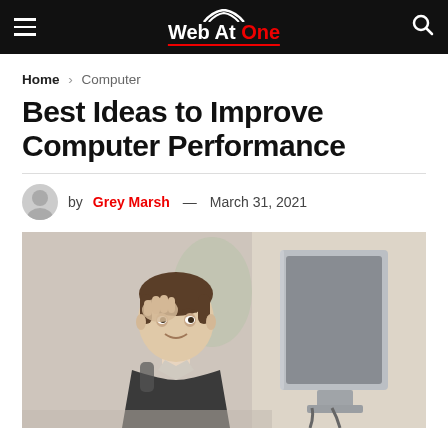Web At One
Home > Computer
Best Ideas to Improve Computer Performance
by Grey Marsh — March 31, 2021
[Figure (photo): A frustrated man sitting at a desk holding his head with his hand, looking at a computer monitor from behind, in an office setting.]